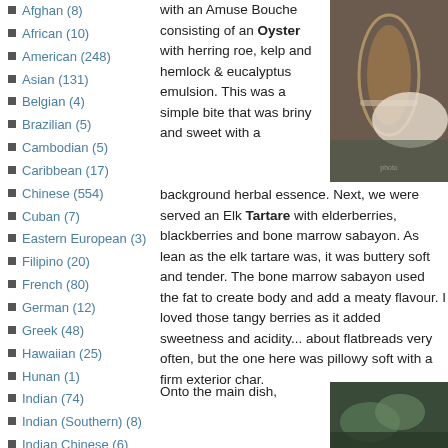Afghan (8)
African (10)
American (248)
Asian (131)
Belgian (4)
Brazilian (5)
Cambodian (5)
Caribbean (17)
Chinese (554)
Cuban (7)
Eastern European (3)
Filipino (20)
French (80)
German (12)
Greek (48)
Hawaiian (25)
Hunan (1)
Indian (74)
Indian (Southern) (8)
Indian Chinese (6)
International (138)
Italian (169)
with an Amuse Bouche consisting of an Oyster with herring roe, kelp and hemlock & eucalyptus emulsion. This was a simple bite that was briny and sweet with a background herbal essence. Next, we were served an Elk Tartare with elderberries, blackberries and bone marrow sabayon. As lean as the elk tartare was, it was buttery soft and tender. The bone marrow sabayon used the fat to create body and add a meaty flavour. I loved those tangy berries as it added sweetness and acidity... about flatbreads very often, but the one here was pillowy soft with a firm exterior char.
Onto the main dish,
[Figure (photo): A wine glass with amber/rosé liquid on a dark surface with a white plate visible, photographed from close up]
[Figure (photo): A partial view of a dish with green garnish, bottom right corner]